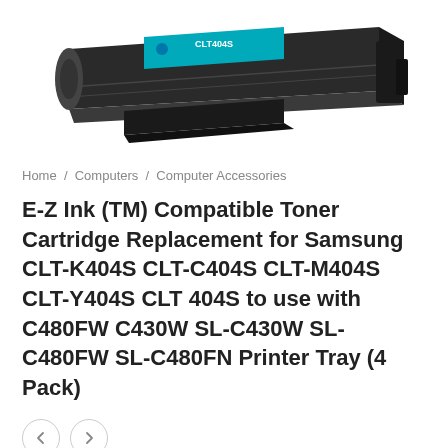[Figure (photo): Toner cartridge product image — a black Samsung-compatible toner cartridge with cyan label reading CLT404S, shown at an angle on a white background.]
Home / Computers / Computer Accessories
E-Z Ink (TM) Compatible Toner Cartridge Replacement for Samsung CLT-K404S CLT-C404S CLT-M404S CLT-Y404S CLT 404S to use with C480FW C430W SL-C430W SL-C480FW SL-C480FN Printer Tray (4 Pack)
[Figure (other): Two circular navigation arrow buttons (left and right chevrons) for image carousel.]
$73.97  $62.87
Checkout On Amazon